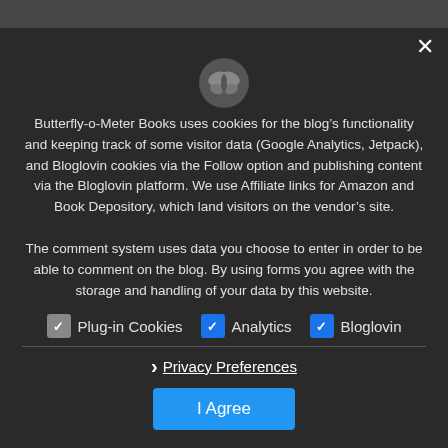13 thoughts on “Hoppity Hop Galore #39: Outdoors reading? Not so much…”
Butterfly-o-Meter Books uses cookies for the blog’s functionality and keeping track of some visitor data (Google Analytics, Jetpack), and Bloglovin cookies via the Follow option and publishing content via the Bloglovin platform. We use Affiliate links for Amazon and Book Depository, which land visitors on the vendor’s site.
The comment system uses data you choose to enter in order to be able to comment on the blog. By using forms you agree with the storage and handling of your data by this website.
Plug-in Cookies   Analytics   Bloglovin
› Privacy Preferences
I Agree